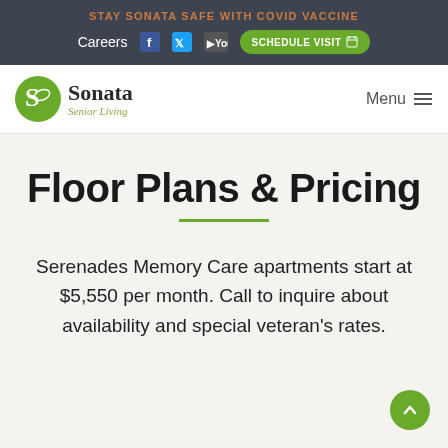STAY SONATA SAFE WITH COVID VACCINE
Careers  SCHEDULE VISIT
[Figure (logo): Sonata Senior Living logo — green circle with S motif, text 'Sonata Senior Living' in serif font]
Floor Plans & Pricing
Serenades Memory Care apartments start at $5,550 per month. Call to inquire about availability and special veteran's rates.